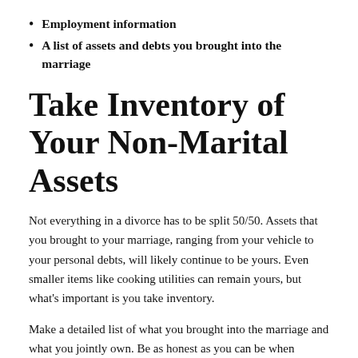Employment information
A list of assets and debts you brought into the marriage
Take Inventory of Your Non-Marital Assets
Not everything in a divorce has to be split 50/50. Assets that you brought to your marriage, ranging from your vehicle to your personal debts, will likely continue to be yours. Even smaller items like cooking utilities can remain yours, but what's important is you take inventory.
Make a detailed list of what you brought into the marriage and what you jointly own. Be as honest as you can be when making this list. It's also important to account for any paperwork you might have that proves you are the owner of these items.